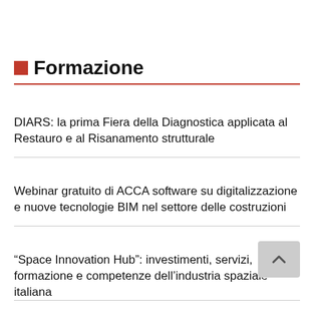Formazione
DIARS: la prima Fiera della Diagnostica applicata al Restauro e al Risanamento strutturale
Webinar gratuito di ACCA software su digitalizzazione e nuove tecnologie BIM nel settore delle costruzioni
“Space Innovation Hub”: investimenti, servizi, formazione e competenze dell’industria spaziale italiana
L’Italia dei droni 2023: bilancio e prospettive